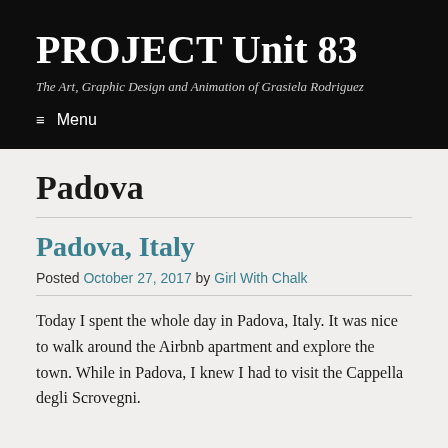PROJECT Unit 83
The Art, Graphic Design and Animation of Grasiela Rodriguez
≡ Menu
Padova
Padova, Italy
Posted October 27, 2017 by Girl With Chalk
Today I spent the whole day in Padova, Italy. It was nice to walk around the Airbnb apartment and explore the town. While in Padova, I knew I had to visit the Cappella degli Scrovegni.